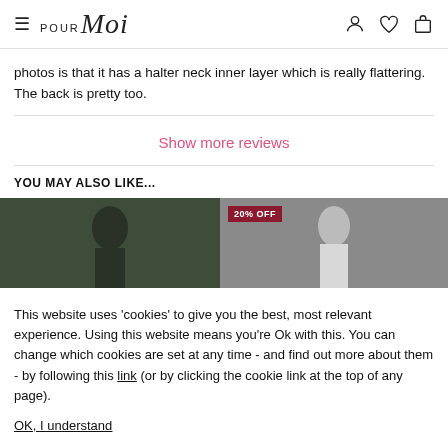Pour Moi — navigation header with hamburger menu, logo, and icons (account, wishlist, bag)
photos is that it has a halter neck inner layer which is really flattering. The back is pretty too.
Show more reviews
YOU MAY ALSO LIKE...
[Figure (photo): Two product lifestyle photos side by side. Left: woman in dark outdoor setting. Right: woman in white top. A '20% OFF' badge overlays the start of the right image.]
This website uses 'cookies' to give you the best, most relevant experience. Using this website means you're Ok with this. You can change which cookies are set at any time - and find out more about them - by following this link (or by clicking the cookie link at the top of any page).

OK, I understand